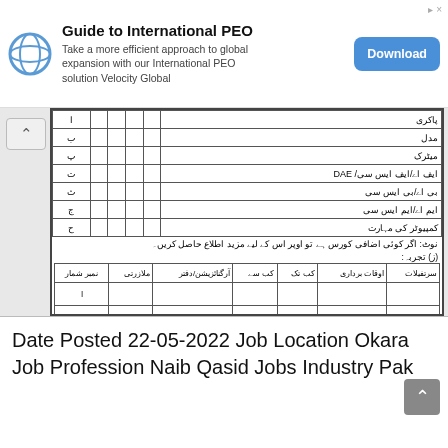[Figure (screenshot): Advertisement banner for 'Guide to International PEO' by Velocity Global with a download button]
[Figure (screenshot): Scanned Urdu-language government job application form with two tables containing rows for educational qualifications and employment history, with notes and signature lines at the bottom]
Date Posted 22-05-2022 Job Location Okara Job Profession Naib Qasid Jobs Industry Pak